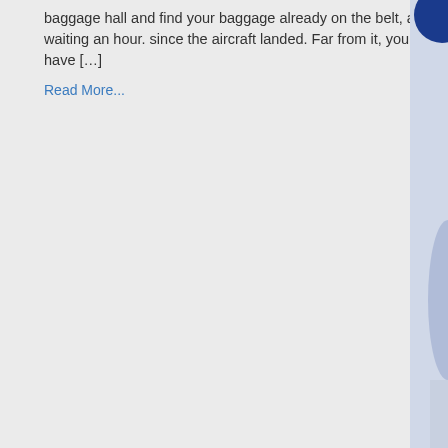baggage hall and find your baggage already on the belt, after waiting an hour. since the aircraft landed. Far from it, you first have […]
Read More...